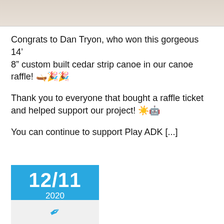[Figure (photo): Partial photo visible at top of page, cropped]
Congrats to Dan Tryon, who won this gorgeous 14' 8" custom built cedar strip canoe in our canoe raffle! 🛶🎉🎉
Thank you to everyone that bought a raffle ticket and helped support our project! ☀️🤖
You can continue to support Play ADK [...]
[Figure (other): Blue date block showing 12/11 2020]
[Figure (other): Light gray block with blue pen/quill icon]